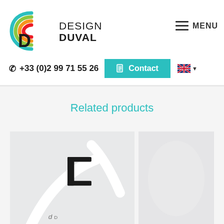[Figure (logo): Design Duval logo with colorful arc icon and company name]
MENU
+33 (0)2 99 71 55 26
Contact
Related products
[Figure (photo): Product photo showing a white object with a black bracket/clip component]
[Figure (photo): Partial product photo on right side, light grey background]